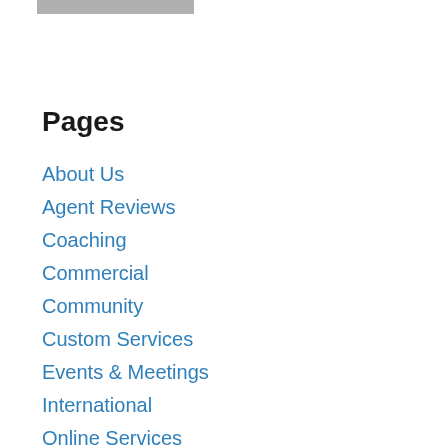[Figure (other): Gray horizontal bar at top of page]
Pages
About Us
Agent Reviews
Coaching
Commercial
Community
Custom Services
Events & Meetings
International
Online Services
RE/MAX vs. Competitors